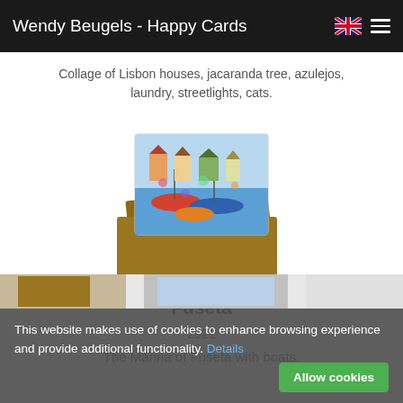Wendy Beugels - Happy Cards
Collage of Lisbon houses, jacaranda tree, azulejos, laundry, streetlights, cats.
[Figure (photo): A greeting card showing a colorful painting of the Marina of Fuseta with boats, placed on a brown envelope, photographed from above.]
Fuseta
2021
The Marina of Fuseta with boats.
This website makes use of cookies to enhance browsing experience and provide additional functionality. Details
[Figure (photo): Partial bottom strip showing two partially visible greeting card images.]